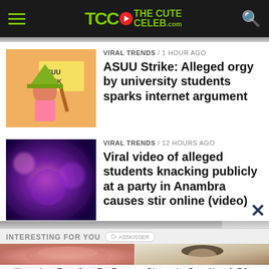TheCuteCeleb.com
VIRAL TRENDS / 1 hour ago
ASUU Strike: Alleged orgy by university students sparks internet argument
VIRAL TRENDS / 12 hours ago
Viral video of alleged students knacking publicly at a party in Anambra causes stir online (video)
INTERESTING FOR YOU
Women Love These Great Tips To Making Your Teeth Look Whiter
7 Interesting Facts About GoT Star Maisie Williams